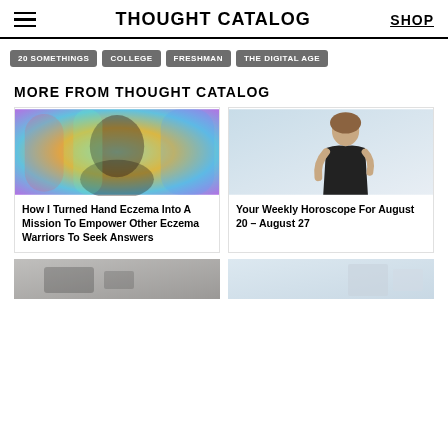THOUGHT CATALOG | SHOP
20 SOMETHINGS
COLLEGE
FRESHMAN
THE DIGITAL AGE
MORE FROM THOUGHT CATALOG
[Figure (photo): Woman with colorful rainbow light overlay on her face]
How I Turned Hand Eczema Into A Mission To Empower Other Eczema Warriors To Seek Answers
[Figure (photo): Woman in black outfit against light blue background]
Your Weekly Horoscope For August 20 – August 27
[Figure (photo): Partial bottom card left - gray toned image]
[Figure (photo): Partial bottom card right - light blue/white image]